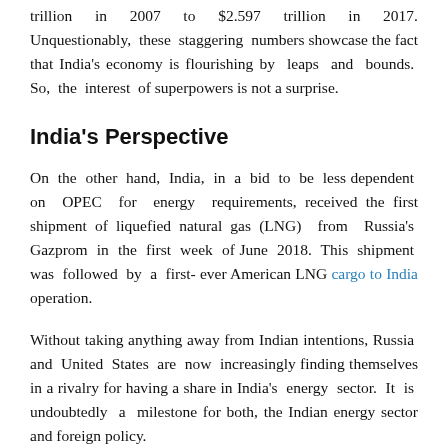trillion in 2007 to $2.597 trillion in 2017. Unquestionably, these staggering numbers showcase the fact that India's economy is flourishing by leaps and bounds. So, the interest of superpowers is not a surprise.
India's Perspective
On the other hand, India, in a bid to be less dependent on OPEC for energy requirements, received the first shipment of liquefied natural gas (LNG) from Russia's Gazprom in the first week of June 2018. This shipment was followed by a first-ever American LNG cargo to India operation.
Without taking anything from Indian intentions, Russia and United States are now increasingly finding themselves in a rivalry for having a share in India's energy sector. It is undoubtedly a milestone for both, the Indian energy sector and foreign policy.